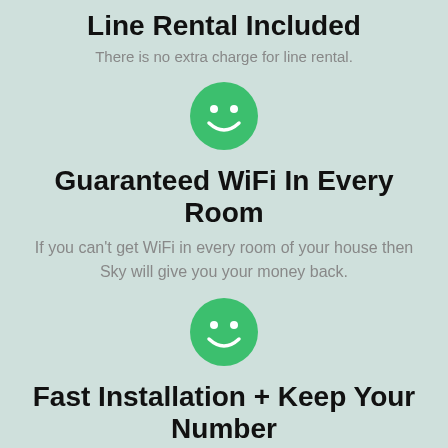Line Rental Included
There is no extra charge for line rental.
[Figure (illustration): Green smiley face circle icon]
Guaranteed WiFi In Every Room
If you can't get WiFi in every room of your house then Sky will give you your money back.
[Figure (illustration): Green smiley face circle icon]
Fast Installation + Keep Your Number
Get your new broadband installed super fast